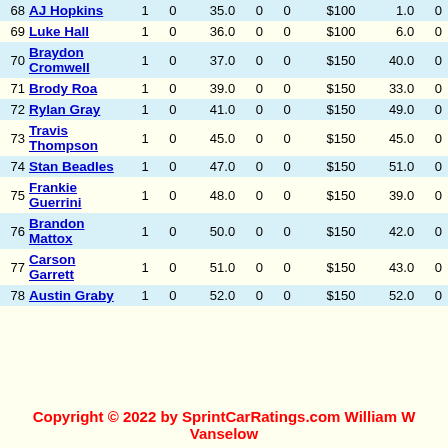| # | Name | Starts | Wins | Pts | Col1 | Col2 | Earnings | Rank | Col3 |
| --- | --- | --- | --- | --- | --- | --- | --- | --- | --- |
| 68 | AJ Hopkins | 1 | 0 | 35.0 | 0 | 0 | $100 | 1.0 | 0 |
| 69 | Luke Hall | 1 | 0 | 36.0 | 0 | 0 | $100 | 6.0 | 0 |
| 70 | Braydon Cromwell | 1 | 0 | 37.0 | 0 | 0 | $150 | 40.0 | 0 |
| 71 | Brody Roa | 1 | 0 | 39.0 | 0 | 0 | $150 | 33.0 | 0 |
| 72 | Rylan Gray | 1 | 0 | 41.0 | 0 | 0 | $150 | 49.0 | 0 |
| 73 | Travis Thompson | 1 | 0 | 45.0 | 0 | 0 | $150 | 45.0 | 0 |
| 74 | Stan Beadles | 1 | 0 | 47.0 | 0 | 0 | $150 | 51.0 | 0 |
| 75 | Frankie Guerrini | 1 | 0 | 48.0 | 0 | 0 | $150 | 39.0 | 0 |
| 76 | Brandon Mattox | 1 | 0 | 50.0 | 0 | 0 | $150 | 42.0 | 0 |
| 77 | Carson Garrett | 1 | 0 | 51.0 | 0 | 0 | $150 | 43.0 | 0 |
| 78 | Austin Graby | 1 | 0 | 52.0 | 0 | 0 | $150 | 52.0 | 0 |
Copyright © 2022 by SprintCarRatings.com William W Vanselow